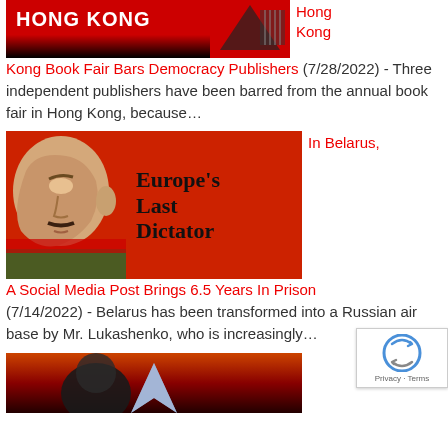[Figure (illustration): Hong Kong Book Fair article thumbnail - red background with 'HONG KONG' text and decorative graphic]
Hong Kong Book Fair Bars Democracy Publishers (7/28/2022) - Three independent publishers have been barred from the annual book fair in Hong Kong, because…
[Figure (illustration): Belarus dictator article thumbnail - red background with stylized face profile and text 'Europe's Last Dictator']
In Belarus, A Social Media Post Brings 6.5 Years In Prison (7/14/2022) - Belarus has been transformed into a Russian air base by Mr. Lukashenko, who is increasingly…
[Figure (illustration): Third article thumbnail - dark red/orange background with abstract shapes]